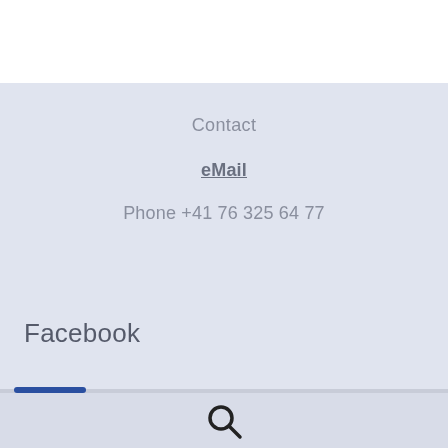Contact
eMail
Phone +41 76 325 64 77
Facebook
[Figure (other): Search magnifying glass icon in bottom navigation bar]